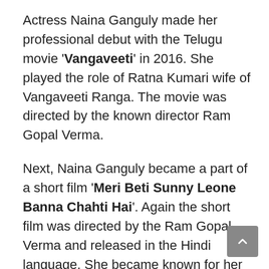Actress Naina Ganguly made her professional debut with the Telugu movie 'Vangaveeti' in 2016. She played the role of Ratna Kumari wife of Vangaveeti Ranga. The movie was directed by the known director Ram Gopal Verma.
Next, Naina Ganguly became a part of a short film 'Meri Beti Sunny Leone Banna Chahti Hai'. Again the short film was directed by the Ram Gopal Verma and released in the Hindi language. She became known for her acting skills and dedication to the work.